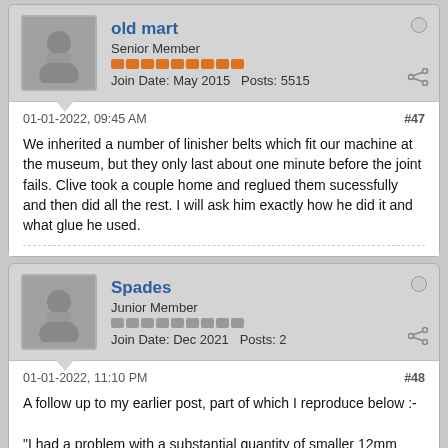old mart
Senior Member
Join Date: May 2015   Posts: 5515
01-01-2022, 09:45 AM
#47
We inherited a number of linisher belts which fit our machine at the museum, but they only last about one minute before the joint fails. Clive took a couple home and reglued them sucessfully and then did all the rest. I will ask him exactly how he did it and what glue he used.
Spades
Junior Member
Join Date: Dec 2021   Posts: 2
01-01-2022, 11:10 PM
#48
A follow up to my earlier post, part of which I reproduce below :-
"I had a problem with a substantial quantity of smaller 12mm wide belts